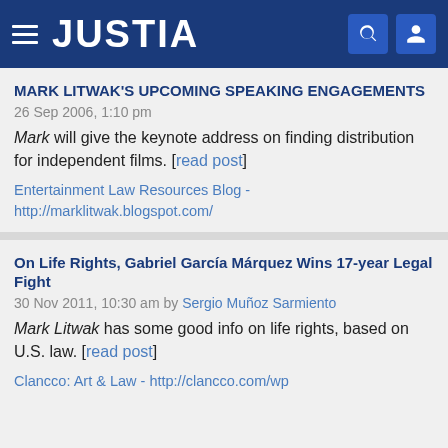[Figure (logo): Justia website header with hamburger menu, JUSTIA logo, search icon, and user icon on dark blue background]
MARK LITWAK'S UPCOMING SPEAKING ENGAGEMENTS
26 Sep 2006, 1:10 pm
Mark will give the keynote address on finding distribution for independent films. [read post]
Entertainment Law Resources Blog - http://marklitwak.blogspot.com/
On Life Rights, Gabriel García Márquez Wins 17-year Legal Fight
30 Nov 2011, 10:30 am by Sergio Muñoz Sarmiento
Mark Litwak has some good info on life rights, based on U.S. law. [read post]
Clancco: Art & Law - http://clancco.com/wp